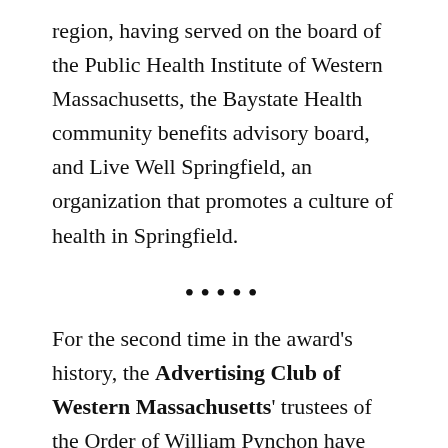region, having served on the board of the Public Health Institute of Western Massachusetts, the Baystate Health community benefits advisory board, and Live Well Springfield, an organization that promotes a culture of health in Springfield.
.....
For the second time in the award's history, the Advertising Club of Western Massachusetts' trustees of the Order of William Pynchon have Pynchon Medal recipients amidst a global pandemic. Slated to receive the Advertising Club's Pynchon Medal at an October 2021 event are two local residents. Elizabeth Wills-O'Gilvie is a longtime community activist for good nutrition and healthy eating, and a